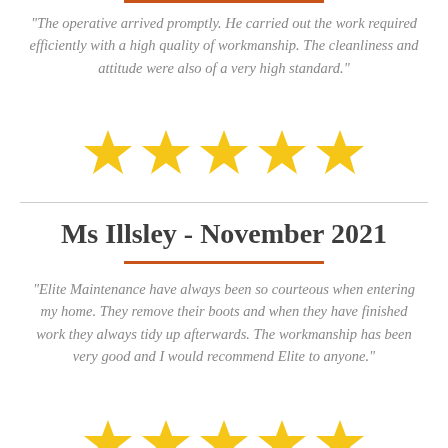"The operative arrived promptly. He carried out the work required efficiently with a high quality of workmanship. The cleanliness and attitude were also of a very high standard."
[Figure (other): Five gold star rating]
Ms Illsley - November 2021
"Elite Maintenance have always been so courteous when entering my home. They remove their boots and when they have finished work they always tidy up afterwards. The workmanship has been very good and I would recommend Elite to anyone."
[Figure (other): Partial five gold star rating (bottom cut off)]